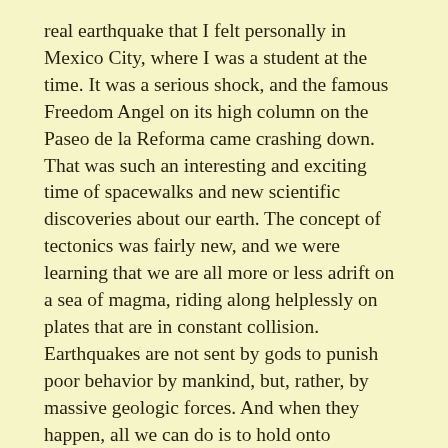real earthquake that I felt personally in Mexico City, where I was a student at the time. It was a serious shock, and the famous Freedom Angel on its high column on the Paseo de la Reforma came crashing down. That was such an interesting and exciting time of spacewalks and new scientific discoveries about our earth. The concept of tectonics was fairly new, and we were learning that we are all more or less adrift on a sea of magma, riding along helplessly on plates that are in constant collision. Earthquakes are not sent by gods to punish poor behavior by mankind, but, rather, by massive geologic forces. And when they happen, all we can do is to hold onto something.
Speaking of holding onto something – my next earthquake was in the Philippines, another seismic hot spot. I was sitting alone in a small